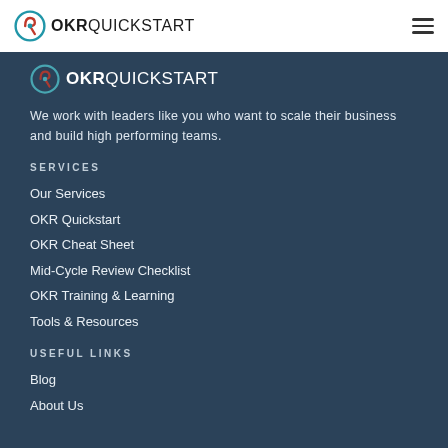OKR QUICKSTART
[Figure (logo): OKR Quickstart logo with circular icon and bold OKR text followed by QUICKSTART in the footer area]
We work with leaders like you who want to scale their business and build high performing teams.
SERVICES
Our Services
OKR Quickstart
OKR Cheat Sheet
Mid-Cycle Review Checklist
OKR Training & Learning
Tools & Resources
USEFUL LINKS
Blog
About Us